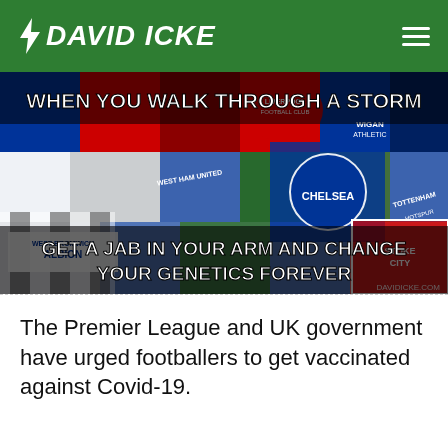DAVID ICKE
[Figure (illustration): Collage of English football club badges/crests with text overlay: 'WHEN YOU WALK THROUGH A STORM' at top and 'GET A JAB IN YOUR ARM AND CHANGE YOUR GENETICS FOREVER' at bottom. DAVIDICKE.COM watermark visible. Clubs visible include Liverpool, West Ham United, Chelsea, Tottenham Hotspur, West Bromwich Albion, Stoke City, Wigan Athletic, and others.]
The Premier League and UK government have urged footballers to get vaccinated against Covid-19.